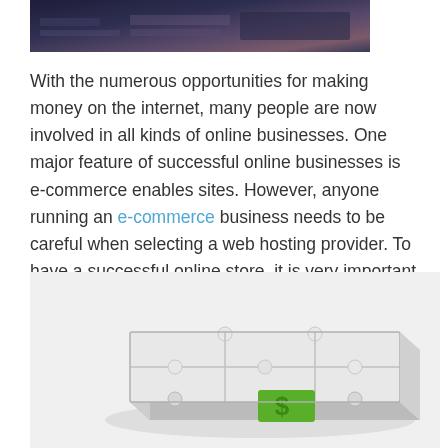[Figure (photo): Dark banner image with purple/dark tones at the top of the page]
With the numerous opportunities for making money on the internet, many people are now involved in all kinds of online businesses. One major feature of successful online businesses is e-commerce enables sites. However, anyone running an e-commerce business needs to be careful when selecting a web hosting provider. To have a successful online store, it is very important to choose a web host who can offer helpful services and features.
[Figure (illustration): 3D puzzle pieces assembled together with a green dollar sign puzzle piece fitting into the bottom of the puzzle]